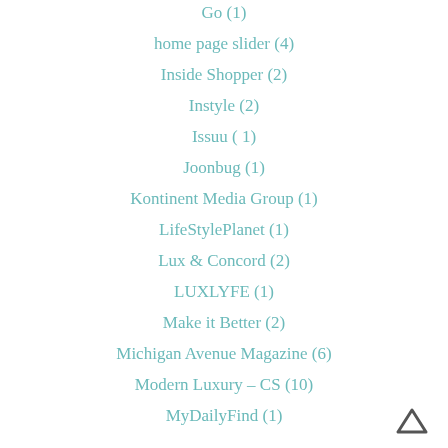Go (1)
home page slider (4)
Inside Shopper (2)
Instyle (2)
Issuu ( 1)
Joonbug (1)
Kontinent Media Group (1)
LifeStylePlanet (1)
Lux & Concord (2)
LUXLYFE (1)
Make it Better (2)
Michigan Avenue Magazine (6)
Modern Luxury – CS (10)
MyDailyFind (1)